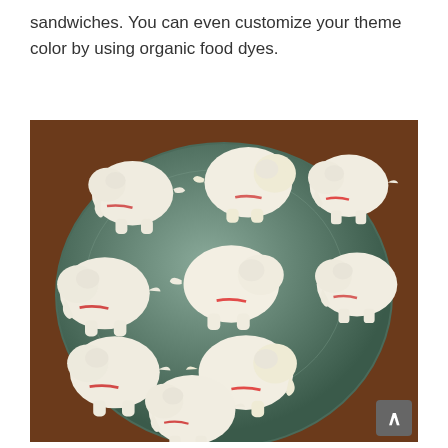sandwiches. You can even customize your theme color by using organic food dyes.
[Figure (photo): A blue-gray plate on a wooden table, covered with white elephant-shaped sandwiches (approximately 8-9 sandwiches). The sandwiches are cut into elephant silhouettes from white bread, with red jam/filling visible at the edges.]